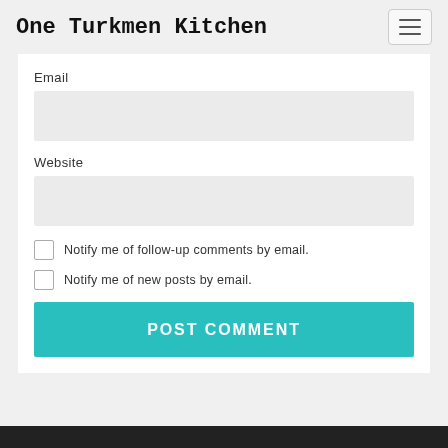One Turkmen Kitchen
Email
Website
Notify me of follow-up comments by email.
Notify me of new posts by email.
POST COMMENT